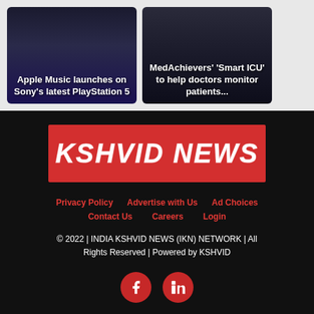[Figure (photo): News card with dark blue background showing Apple Music on PlayStation text overlay]
Apple Music launches on Sony's latest PlayStation 5
[Figure (photo): News card with dark background showing a person and MedAchievers Smart ICU text overlay]
MedAchievers' 'Smart ICU' to help doctors monitor patients...
[Figure (logo): KSHVID NEWS logo on red banner background]
Privacy Policy
Advertise with Us
Ad Choices
Contact Us
Careers
Login
© 2022 | INDIA KSHVID NEWS (IKN) NETWORK | All Rights Reserved | Powered by KSHVID
[Figure (other): Facebook and LinkedIn social media icon buttons]